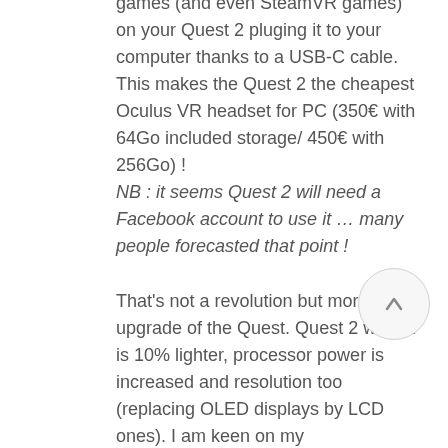games (and even SteamVR games) on your Quest 2 pluging it to your computer thanks to a USB-C cable. This makes the Quest 2 the cheapest Oculus VR headset for PC (350€ with 64Go included storage/ 450€ with 256Go) ! NB : it seems Quest 2 will need a Facebook account to use it … many people forecasted that point !
That's not a revolution but more an upgrade of the Quest. Quest 2 weight is 10% lighter, processor power is increased and resolution too (replacing OLED displays by LCD ones). I am keen on my